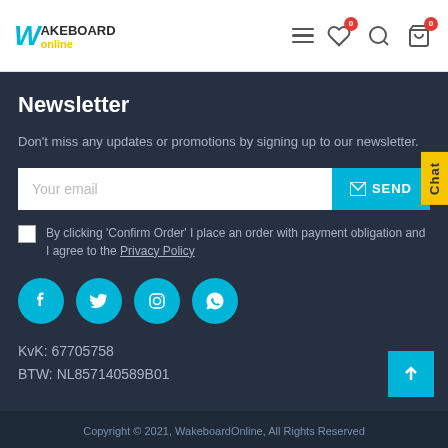[Figure (screenshot): WakeboardOnline website header with logo, hamburger menu, heart icon with 0 badge, search icon, and cart icon with 0 badge]
Newsletter
Don't miss any updates or promotions by signing up to our newsletter.
Your email [input field] SEND button
By clicking 'Confirm Order' I place an order with payment obligation and I agree to the Privacy Policy
[Figure (illustration): Social media icons: Facebook, Twitter, Instagram, WhatsApp]
KvK: 67705758
BTW: NL857140589B01
Copyright © 2021, WakeboardOnline, All Rights Reserved